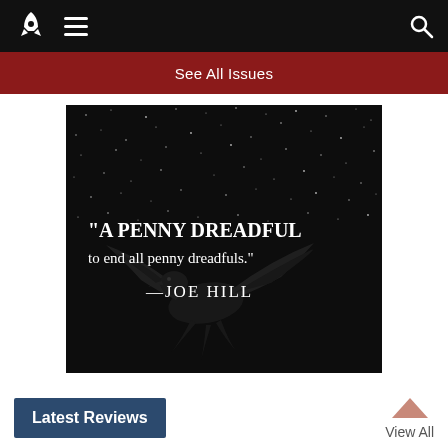Navigation bar with rocket logo, hamburger menu, and search icon
See All Issues
[Figure (illustration): Dark book cover or promotional image with a black raven/crow flying against a starry night sky background. White text reads: "A PENNY DREADFUL to end all penny dreadfuls." —JOE HILL]
Latest Reviews
View All